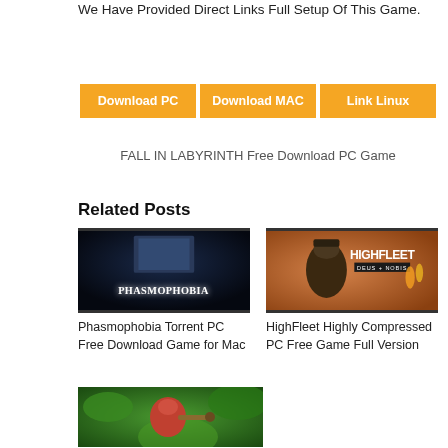We Have Provided Direct Links Full Setup Of This Game.
[Figure (other): Three orange download buttons: Download PC, Download MAC, Link Linux]
FALL IN LABYRINTH Free Download PC Game
Related Posts
[Figure (photo): Phasmophobia game cover — dark blue title text on dark background]
Phasmophobia Torrent PC Free Download Game for Mac
[Figure (photo): HighFleet game cover — military captain figure with HighFleet DEUS + NOBIS text on orange/brown background]
HighFleet Highly Compressed PC Free Game Full Version
[Figure (photo): Colorful game cover with fantasy creature/character on green background]